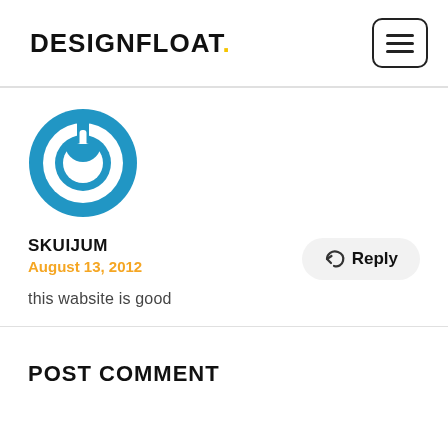DESIGNFLOAT.
[Figure (logo): Blue circular power button icon/logo]
SKUIJUM
August 13, 2012

this wabsite is good
POST COMMENT